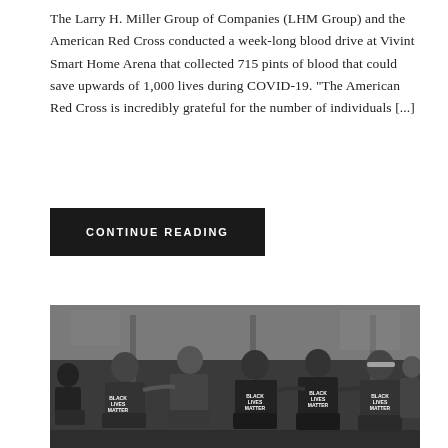The Larry H. Miller Group of Companies (LHM Group) and the American Red Cross conducted a week-long blood drive at Vivint Smart Home Arena that collected 715 pints of blood that could save upwards of 1,000 lives during COVID-19. “The American Red Cross is incredibly grateful for the number of individuals [...]
CONTINUE READING
[Figure (photo): Black and white photograph of a group of people, some wearing Black Lives Matter t-shirts, kneeling together on what appears to be a basketball court or arena floor.]